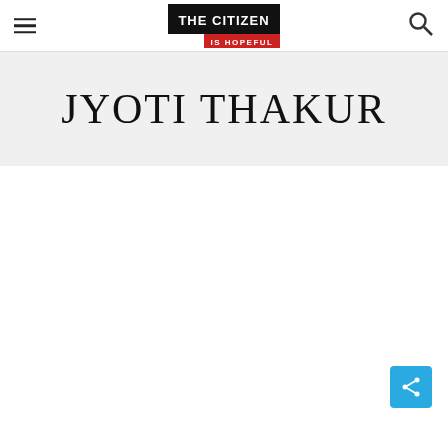THE CITIZEN IS HOPEFUL
JYOTI THAKUR
[Figure (other): Share button icon (cyan/blue square with share symbol) in bottom-right corner]